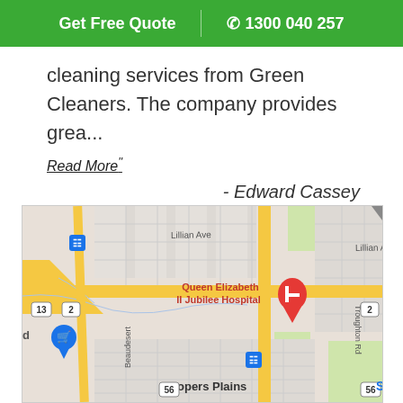Get Free Quote | 1300 040 257
cleaning services from Green Cleaners. The company provides grea...
Read More"
- Edward Cassey
[Figure (map): Google Maps view showing the area around Queen Elizabeth II Jubilee Hospital in Coopers Plains, Brisbane. Streets visible include Lillian Ave, Beaudesert Rd, Troughton Rd. Route numbers 2, 13, 56 visible. Map markers for hospital (H) and transit stops.]